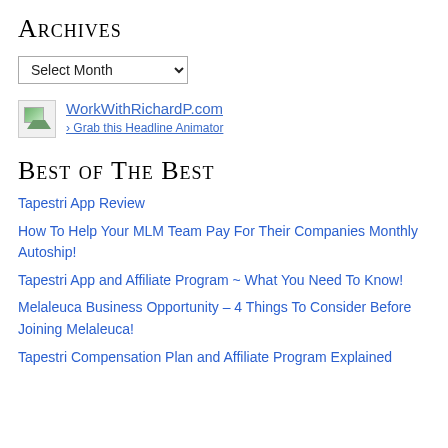Archives
[Figure (screenshot): A dropdown select box labeled 'Select Month' with a chevron arrow]
[Figure (other): Broken image placeholder icon next to links: 'WorkWithRichardP.com' and '› Grab this Headline Animator']
Best of The Best
Tapestri App Review
How To Help Your MLM Team Pay For Their Companies Monthly Autoship!
Tapestri App and Affiliate Program ~ What You Need To Know!
Melaleuca Business Opportunity – 4 Things To Consider Before Joining Melaleuca!
Tapestri Compensation Plan and Affiliate Program Explained